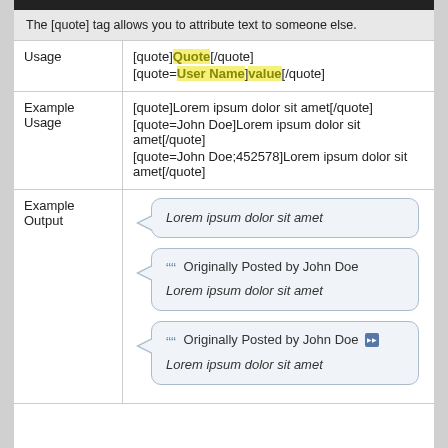The [quote] tag allows you to attribute text to someone else.
|  |  |
| --- | --- |
| Usage | [quote]Quote[/quote]
[quote=User Name]value[/quote] |
| Example Usage | [quote]Lorem ipsum dolor sit amet[/quote]
[quote=John Doe]Lorem ipsum dolor sit amet[/quote]
[quote=John Doe;452578]Lorem ipsum dolor sit amet[/quote] |
| Example Output | (rendered quote boxes with Lorem ipsum dolor sit amet) |